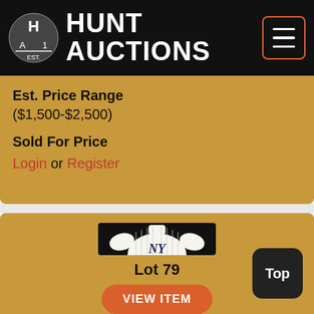Hunt Auctions
Est. Price Range
($1,500-$2,500)
Sold For Price
Login or Register
[Figure (photo): New York Yankees pinstripe baseball jersey displayed on black background]
Lot 79
VIEW ITEM